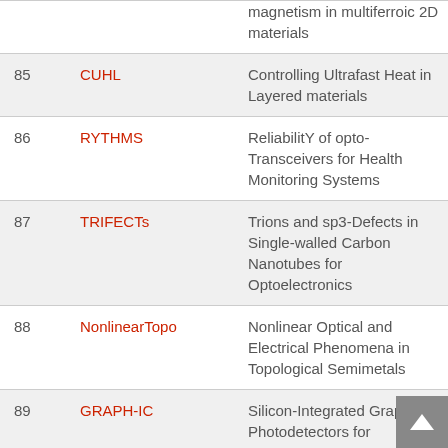| # | Acronym | Title |
| --- | --- | --- |
|  |  | magnetism in multiferroic 2D materials |
| 85 | CUHL | Controlling Ultrafast Heat in Layered materials |
| 86 | RYTHMS | ReliabilitY of opto-Transceivers for Health Monitoring Systems |
| 87 | TRIFECTs | Trions and sp3-Defects in Single-walled Carbon Nanotubes for Optoelectronics |
| 88 | NonlinearTopo | Nonlinear Optical and Electrical Phenomena in Topological Semimetals |
| 89 | GRAPH-IC | Silicon-Integrated Graphene Photodetectors for |